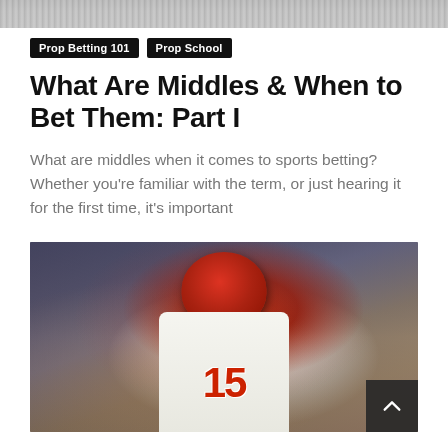[Figure (photo): Partial top sports action photo, cropped at top of page]
Prop Betting 101   Prop School
What Are Middles & When to Bet Them: Part I
What are middles when it comes to sports betting? Whether you're familiar with the term, or just hearing it for the first time, it's important
[Figure (photo): Football player wearing Kansas City Chiefs jersey number 15, red helmet, white jersey with red and gold accents, crowd in background]